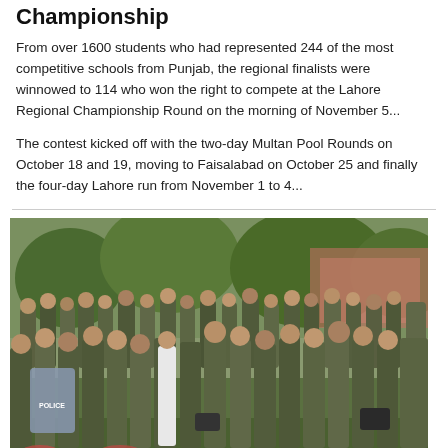Championship
From over 1600 students who had represented 244 of the most competitive schools from Punjab, the regional finalists were winnowed to 114 who won the right to compete at the Lahore Regional Championship Round on the morning of November 5...
The contest kicked off with the two-day Multan Pool Rounds on October 18 and 19, moving to Faisalabad on October 25 and finally the four-day Lahore run from November 1 to 4...
[Figure (photo): A large group of soldiers/police officers in military-style olive green uniforms gathered outdoors in a park-like setting, some carrying shields labeled POLICE.]
Archive  |  2020-03-16 09:15:03
Lahore police fugding figures big time to hide high crime rate